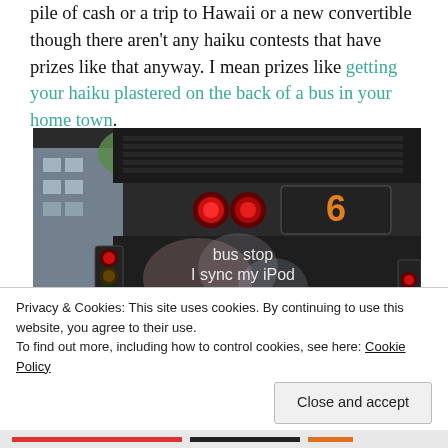pile of cash  or  a trip to Hawaii  or  a new convertible though there aren't any haiku contests that have prizes like that anyway. I mean prizes like getting your haiku plastered on the back of a bus in your home town.
[Figure (photo): Photo of the back of a bus showing a haiku displayed on a digital sign reading 'bus stop / I sync my iPod / to the rain'. The bus has a number 6 display, red circular lights, and traffic lights visible on the left side. A street scene with buildings is visible in the background.]
Privacy & Cookies: This site uses cookies. By continuing to use this website, you agree to their use.
To find out more, including how to control cookies, see here: Cookie Policy
Close and accept